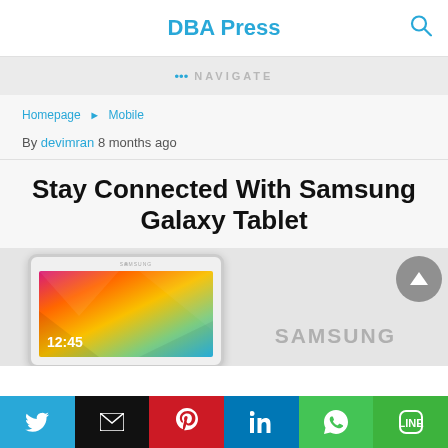DBA Press
••• NAVIGATE
Homepage › Mobile
By devimran 8 months ago
Stay Connected With Samsung Galaxy Tablet
[Figure (photo): Samsung Galaxy Tablet promotional image showing a white tablet with a colorful geometric lock screen displaying 12:45, alongside the Samsung logo]
Social share buttons: Twitter, Email, Pinterest, LinkedIn, WhatsApp, Line